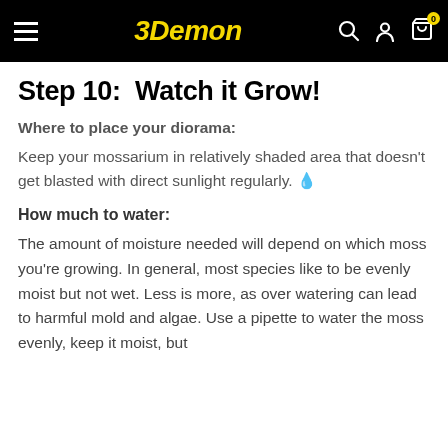3Demon
Step 10:  Watch it Grow!
Where to place your diorama:
Keep your mossarium in relatively shaded area that doesn't get blasted with direct sunlight regularly. 🌿
How much to water:
The amount of moisture needed will depend on which moss you're growing. In general, most species like to be evenly moist but not wet. Less is more, as over watering can lead to harmful mold and algae. Use a pipette to water the moss evenly, keep it moist, but